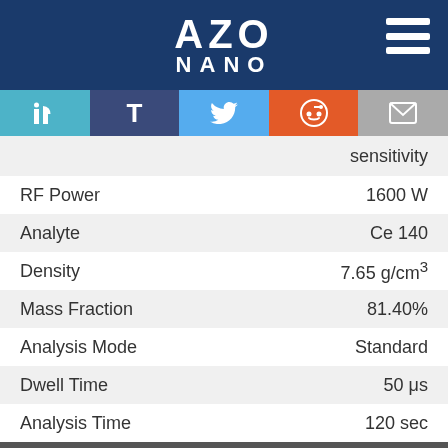AZO NANO
|  |  |
| --- | --- |
|  | sensitivity |
| RF Power | 1600 W |
| Analyte | Ce 140 |
| Density | 7.65 g/cm³ |
| Mass Fraction | 81.40% |
| Analysis Mode | Standard |
| Dwell Time | 50 μs |
| Analysis Time | 120 sec |
We use cookies to enhance your experience. By continuing to browse this site you agree to our use of cookies. More info.
✓ Accept   Cookie Settings